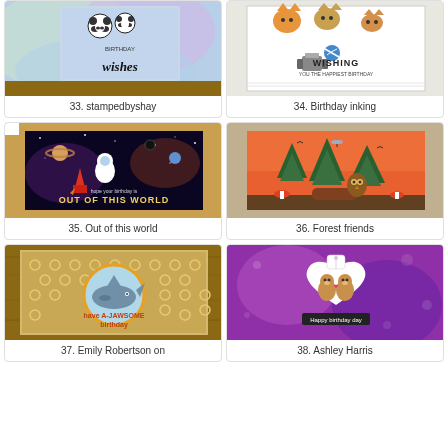[Figure (photo): Handmade birthday card with panda bears and 'wishes' lettering on a blue/green watercolor background]
33. stampedbyshay
[Figure (photo): Handmade card with cats and 'WISHING' sentiment on white background]
34. Birthday inking
[Figure (photo): Handmade card with astronaut, rocket, planets in dark space, 'OUT OF THIS WORLD' text]
35. Out of this world
[Figure (photo): Handmade card with forest scene, pine trees, owl and mushrooms on orange-red background]
36. Forest friends
[Figure (photo): Handmade card with shark in a circle on patterned background, 'AWESOME birthday' text]
37. Emily Robertson on
[Figure (photo): Handmade card with two otters in a white heart on purple background, 'Happy birthday day' text]
38. Ashley Harris